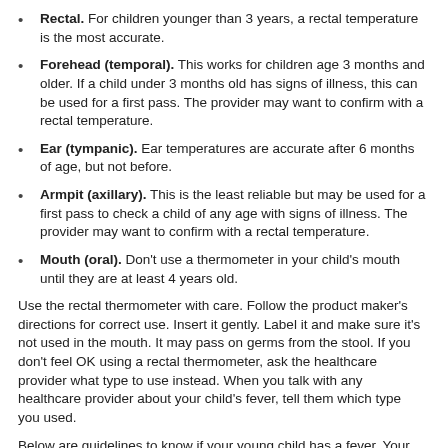Rectal. For children younger than 3 years, a rectal temperature is the most accurate.
Forehead (temporal). This works for children age 3 months and older. If a child under 3 months old has signs of illness, this can be used for a first pass. The provider may want to confirm with a rectal temperature.
Ear (tympanic). Ear temperatures are accurate after 6 months of age, but not before.
Armpit (axillary). This is the least reliable but may be used for a first pass to check a child of any age with signs of illness. The provider may want to confirm with a rectal temperature.
Mouth (oral). Don't use a thermometer in your child's mouth until they are at least 4 years old.
Use the rectal thermometer with care. Follow the product maker's directions for correct use. Insert it gently. Label it and make sure it's not used in the mouth. It may pass on germs from the stool. If you don't feel OK using a rectal thermometer, ask the healthcare provider what type to use instead. When you talk with any healthcare provider about your child's fever, tell them which type you used.
Below are guidelines to know if your young child has a fever. Your child's healthcare provider may give you different numbers for your child. Follow your provider's specific instructions.
Fever readings for a baby under 3 months old:
First, ask your child's healthcare provider how you should take the temperature.